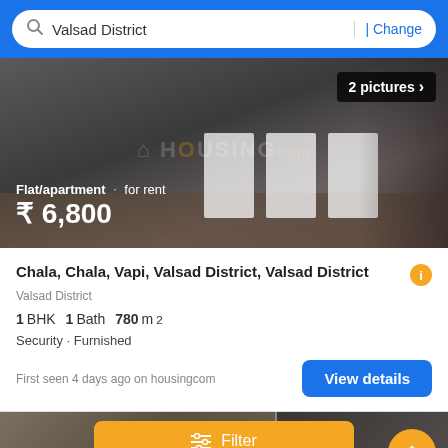Valsad District | Change
[Figure (photo): Interior photo of an empty room with white walls and white panels/partitions, with Housing.com watermark. Shows '2 pictures >' badge. Overlay text: 'Flat/apartment · for rent ₹ 6,800']
Chala, Chala, Vapi, Valsad District, Valsad District
Valsad District
1 BHK  1 Bath  780 m²
Security · Furnished
First seen 4 days ago on housingcom
[Figure (photo): Partial view of another property listing photo at bottom of screen]